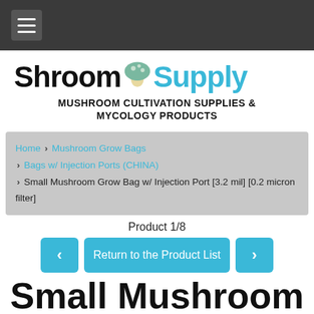Navigation bar with hamburger menu
ShroomSupply - MUSHROOM CULTIVATION SUPPLIES & MYCOLOGY PRODUCTS
Home > Mushroom Grow Bags > Bags w/ Injection Ports (CHINA) > Small Mushroom Grow Bag w/ Injection Port [3.2 mil] [0.2 micron filter]
Product 1/8
< Return to the Product List >
Small Mushroom Grow